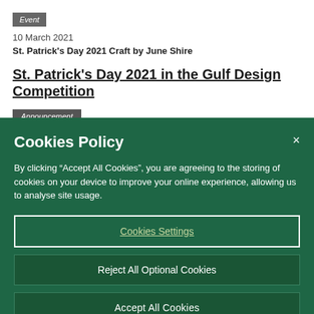Event
10 March 2021
St. Patrick's Day 2021 Craft by June Shire
St. Patrick's Day 2021 in the Gulf Design Competition
Announcement
14 January 2021
Cookies Policy
By clicking “Accept All Cookies”, you are agreeing to the storing of cookies on your device to improve your online experience, allowing us to analyse site usage.
Cookies Settings
Reject All Optional Cookies
Accept All Cookies